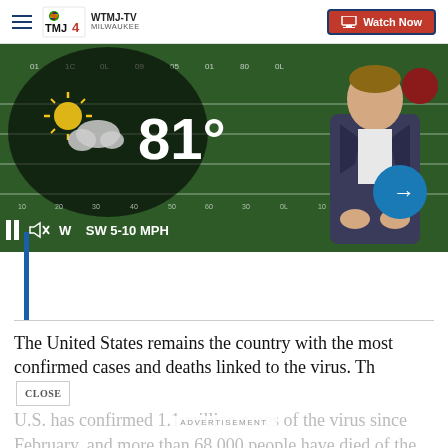WTMJ-TV MILWAUKEE — Watch Now
[Figure (screenshot): Weather broadcast screenshot showing a TV meteorologist on a football field background. Weather overlay shows 81° temperature, sun/cloud icon, and WIND SW 5-10 MPH. Video controls visible (pause, mute). Blue arrow navigation button on right.]
The United States remains the country with the most confirmed cases and deaths linked to the virus. The U.S. has confirmed 1.1 million cases of the virus since February, and more than 68,000 people have died of the virus.